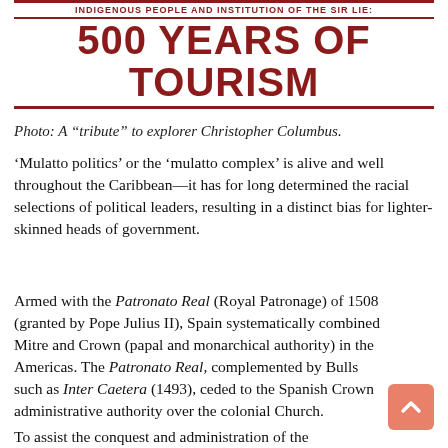[Figure (illustration): Banner image with dark red serif text reading 'INDIGENOUS PEOPLE AND INSTITUTION OF THE SIR LIE:' above a large bold title '500 YEARS OF TOURISM' with decorative borders]
Photo: A “tribute” to explorer Christopher Columbus.
‘Mulatto politics’ or the ‘mulatto complex’ is alive and well throughout the Caribbean—it has for long determined the racial selections of political leaders, resulting in a distinct bias for lighter-skinned heads of government.
Armed with the Patronato Real (Royal Patronage) of 1508 (granted by Pope Julius II), Spain systematically combined Mitre and Crown (papal and monarchical authority) in the Americas. The Patronato Real, complemented by Bulls such as Inter Caetera (1493), ceded to the Spanish Crown administrative authority over the colonial Church.
To assist the conquest and administration of the